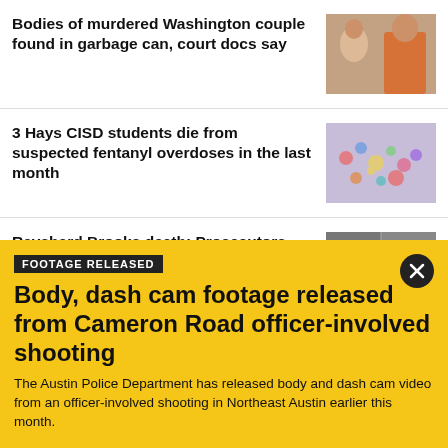Bodies of murdered Washington couple found in garbage can, court docs say
[Figure (photo): Photo of a couple and a man in an orange jumpsuit]
3 Hays CISD students die from suspected fentanyl overdoses in the last month
[Figure (photo): Photo of colorful pills]
Rayshard Brooks death: Prosecutors drop charges against Atlanta police officers in shooting
[Figure (photo): Mugshots of two police officers]
Biden to make long-awaited student loan debt
[Figure (photo): Photo of Biden with American flags]
FOOTAGE RELEASED
Body, dash cam footage released from Cameron Road officer-involved shooting
The Austin Police Department has released body and dash cam video from an officer-involved shooting in Northeast Austin earlier this month.